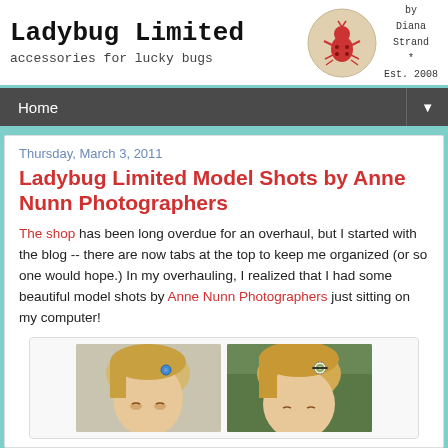Ladybug Limited | accessories for lucky bugs | by Diana Strand | Est. 2008
Home
Thursday, March 3, 2011
Ladybug Limited Model Shots by Anne Nunn Photographers
The shop has been long overdue for an overhaul, but I started with the blog -- there are now tabs at the top to keep me organized (or so one would hope.) In my overhauling, I realized that I had some beautiful model shots by Anne Nunn Photographers just sitting on my computer!
[Figure (photo): Two side-by-side photos of a young blonde girl wearing hair accessories — a blue button clip on left, a decorative clip on right]